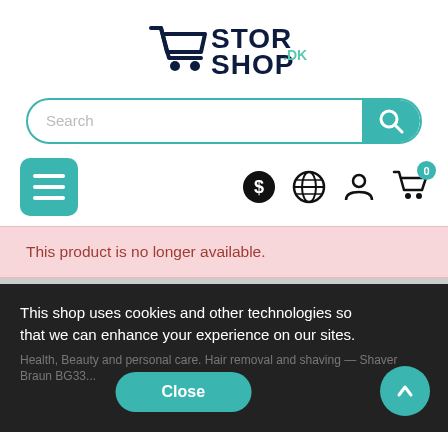[Figure (logo): StorShop.dk logo with shopping cart icon, dark navy text, teal accent]
[Figure (screenshot): Search bar with teal border and search button]
[Figure (screenshot): Navigation bar with teal hamburger menu button and icons for currency, language, account, and cart with 0 badge]
This product is no longer available.
This shop uses cookies and other technologies so that we can enhance your experience on our sites.
Health, Beauty and personal care. Hair removal and shaving — Shaver Braun BG33...
Close